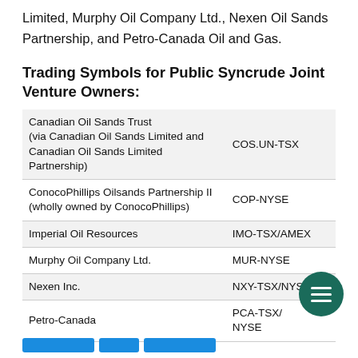Limited, Murphy Oil Company Ltd., Nexen Oil Sands Partnership, and Petro-Canada Oil and Gas.
Trading Symbols for Public Syncrude Joint Venture Owners:
| Company | Symbol |
| --- | --- |
| Canadian Oil Sands Trust (via Canadian Oil Sands Limited and Canadian Oil Sands Limited Partnership) | COS.UN-TSX |
| ConocoPhillips Oilsands Partnership II (wholly owned by ConocoPhillips) | COP-NYSE |
| Imperial Oil Resources | IMO-TSX/AMEX |
| Murphy Oil Company Ltd. | MUR-NYSE |
| Nexen Inc. | NXY-TSX/NYSE |
| Petro-Canada | PCA-TSX/NYSE |